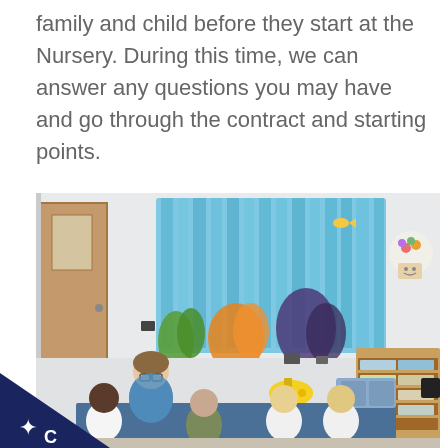family and child before they start at the Nursery. During this time, we can answer any questions you may have and go through the contract and starting points.
[Figure (photo): A nursery classroom interior showing a teacher and four young children sitting on a blue carpet. The background wall has a colorful underwater-themed mural with fish, coral, and sea plants. There is a wooden storage shelving unit on the right, and a door on the left. A yellow submarine decoration is visible on the wall.]